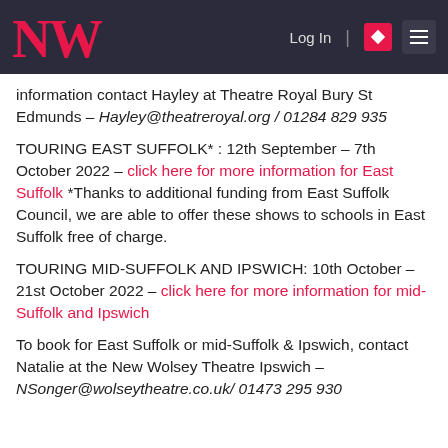NW | Log In | [menu]
information contact Hayley at Theatre Royal Bury St Edmunds – Hayley@theatreroyal.org / 01284 829 935
TOURING EAST SUFFOLK* : 12th September – 7th October 2022 – click here for more information for East Suffolk *Thanks to additional funding from East Suffolk Council, we are able to offer these shows to schools in East Suffolk free of charge.
TOURING MID-SUFFOLK AND IPSWICH: 10th October – 21st October 2022 – click here for more information for mid-Suffolk and Ipswich
To book for East Suffolk or mid-Suffolk & Ipswich, contact Natalie at the New Wolsey Theatre Ipswich – NSonger@wolseytheatre.co.uk/ 01473 295 930